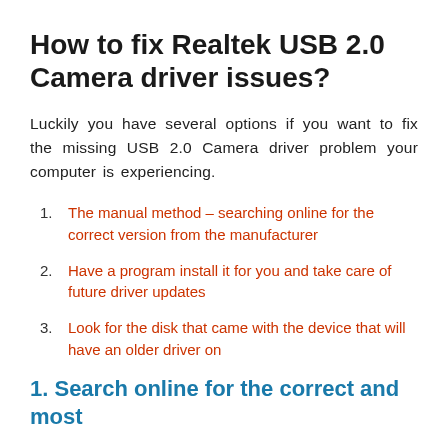How to fix Realtek USB 2.0 Camera driver issues?
Luckily you have several options if you want to fix the missing USB 2.0 Camera driver problem your computer is experiencing.
1. The manual method – searching online for the correct version from the manufacturer
2. Have a program install it for you and take care of future driver updates
3. Look for the disk that came with the device that will have an older driver on
1. Search online for the correct and most